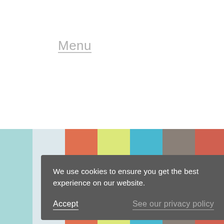Menu
Clay
[Figure (illustration): Horizontal color strip with vertical bands of colors: light blue, light blue-gray/white, coral/orange-red, yellow-green, cyan blue, taupe/brown-gray, coral/terracotta, and lime green. A decorative curved element is partially visible near the bottom center.]
We use cookies to ensure you get the best experience on our website.
Accept
See our privacy policy